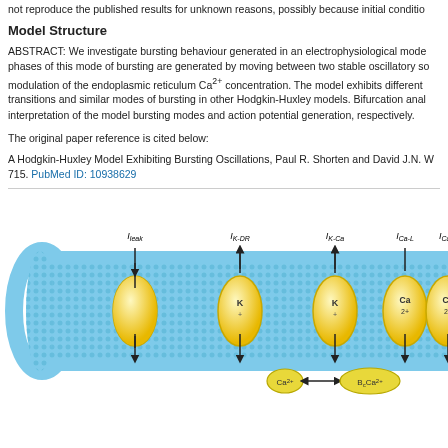not reproduce the published results for unknown reasons, possibly because initial condition
Model Structure
ABSTRACT: We investigate bursting behaviour generated in an electrophysiological mode phases of this mode of bursting are generated by moving between two stable oscillatory so modulation of the endoplasmic reticulum Ca2+ concentration. The model exhibits different transitions and similar modes of bursting in other Hodgkin-Huxley models. Bifurcation anal interpretation of the model bursting modes and action potential generation, respectively.
The original paper reference is cited below:
A Hodgkin-Huxley Model Exhibiting Bursting Oscillations, Paul R. Shorten and David J.N. W 715. PubMed ID: 10938629
[Figure (illustration): Diagram of a cell membrane with ion channel proteins labeled I_leak, I_K-DR, I_K-Ca, I_Ca-L, I_Ca-T embedded in a lipid bilayer (blue), with arrows indicating ion flow. Below the membrane, a Ca2+ ion and B_c Ca2+ are connected by a double-headed arrow.]